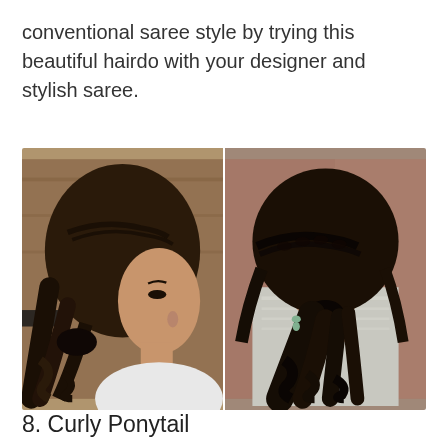conventional saree style by trying this beautiful hairdo with your designer and stylish saree.
[Figure (photo): Two side-by-side photos of a woman with a braided curly ponytail hairstyle. Left photo shows a side view of the face and hair. Right photo shows the back view of the same hairstyle with braids along the top leading into a voluminous curly ponytail.]
8. Curly Ponytail